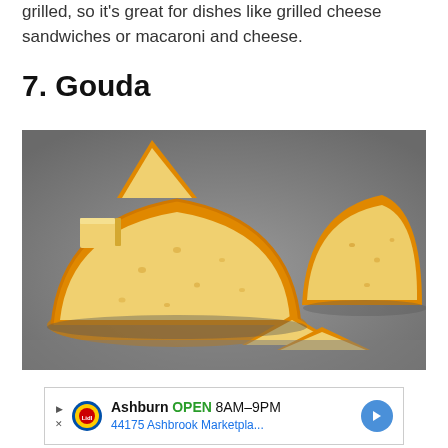grilled, so it's great for dishes like grilled cheese sandwiches or macaroni and cheese.
7. Gouda
[Figure (photo): Photo of Gouda cheese wedges and slices on a grey surface. Large wedge of Gouda with orange rind in the foreground, a smaller wedge on the right, and small triangular slices in the front.]
[Figure (other): Advertisement banner: Lidl store in Ashburn, OPEN 8AM-9PM, 44175 Ashbrook Marketpla...]